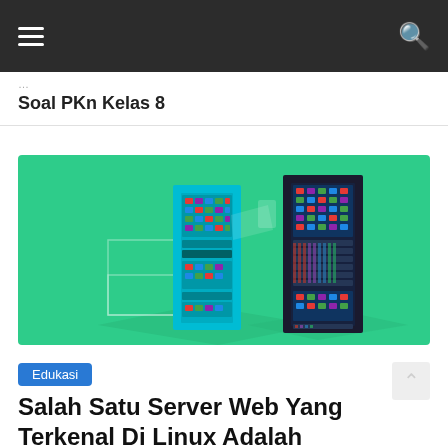☰ [menu] [search]
Soal PKn Kelas 8
[Figure (illustration): Illustration of two server racks on a green background — one cyan-colored and one dark/navy, both showing colorful indicator lights and drive panels, in an isometric style.]
Edukasi
Salah Satu Server Web Yang Terkenal Di Linux Adalah
1 jam ago  Erika Rahmatalita  0 Views  adalah, edukasi